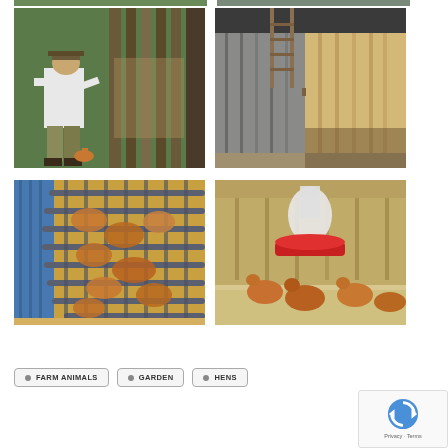[Figure (photo): Partial view of a photo at the very top of the page (cropped) - two photos side by side]
[Figure (photo): Man in white shirt and hat standing next to a wooden fence/structure outdoors]
[Figure (photo): Chicken coop exterior with wooden paneling, ladder visible on the side]
[Figure (photo): Chickens inside a circular metal cage/crate with blue tarp visible]
[Figure (photo): Chickens around a red and white water dispenser inside a coop]
FARM ANIMALS
GARDEN
HENS